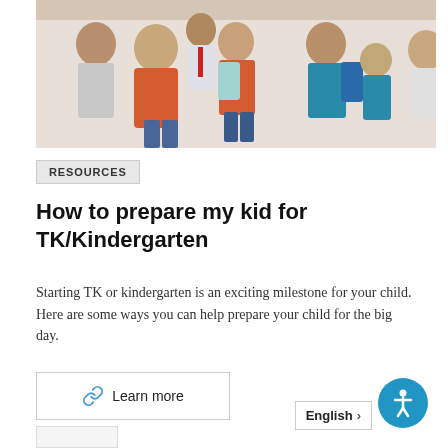[Figure (photo): A woman in an orange/red top crouching down to speak with a young boy wearing a backpack, surrounded by other children and adults at what appears to be a school setting.]
RESOURCES
How to prepare my kid for TK/Kindergarten
Starting TK or kindergarten is an exciting milestone for your child. Here are some ways you can help prepare your child for the big day.
Learn more
English